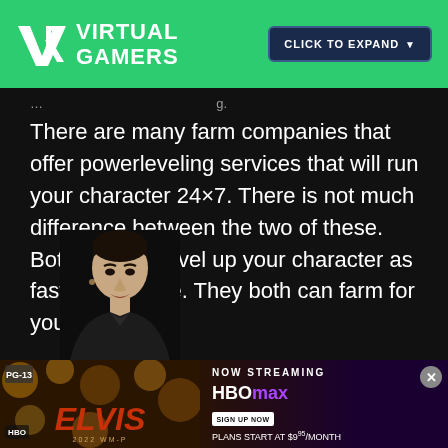VR VIRTUAL GAMERS | CLICK TO EXPAND
There are many farm companies that offer powerleveling services that will run your character 24×7. There is not much difference between the two of these. Both of them level up your character as fast as possible. They both can farm for you as well.
[Figure (photo): Portrait photo of a person resembling Elvis Presley in dark clothing against a black background]
[Figure (infographic): HBO Max ELVIS movie advertisement banner. Text reads: NOW STREAMING, HBOmax, SIGN UP NOW, PLANS START AT $9/MONTH. Left side shows ELVIS movie poster with golden bokeh background.]